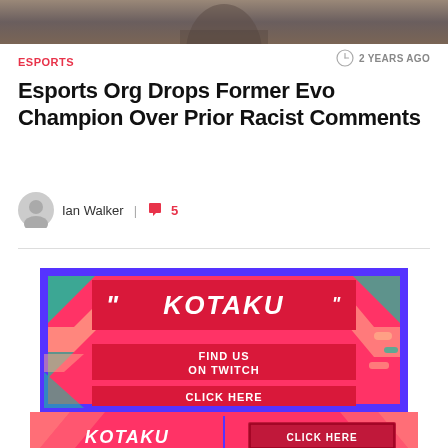[Figure (photo): Top portion of a photo showing a person, cropped — only the lower portion of a gaming/esports event photo visible]
ESPORTS
2 YEARS AGO
Esports Org Drops Former Evo Champion Over Prior Racist Comments
Ian Walker | 5
[Figure (illustration): Kotaku branded advertisement banner — red/pink background with purple border, Kotaku logo in stylized white text, 'FIND US ON TWITCH' text, 'CLICK HERE' button, decorative diagonal stripe pattern in teal and salmon colors]
[Figure (illustration): Kotaku bottom advertisement banner strip — red background with Kotaku logo on left and CLICK HERE button on right]